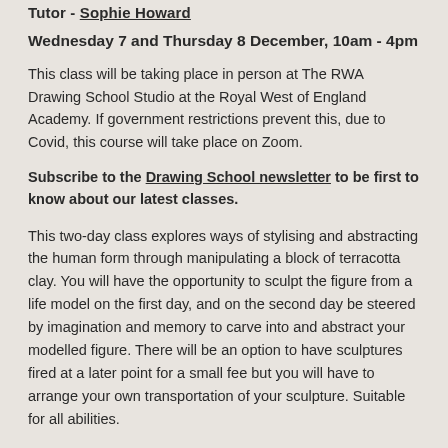Tutor - Sophie Howard
Wednesday 7 and Thursday 8 December, 10am - 4pm
This class will be taking place in person at The RWA Drawing School Studio at the Royal West of England Academy. If government restrictions prevent this, due to Covid, this course will take place on Zoom.
Subscribe to the Drawing School newsletter to be first to know about our latest classes.
This two-day class explores ways of stylising and abstracting the human form through manipulating a block of terracotta clay. You will have the opportunity to sculpt the figure from a life model on the first day, and on the second day be steered by imagination and memory to carve into and abstract your modelled figure. There will be an option to have sculptures fired at a later point for a small fee but you will have to arrange your own transportation of your sculpture. Suitable for all abilities.